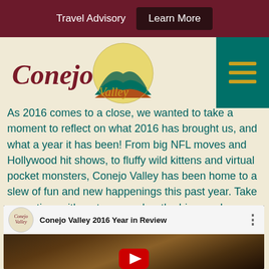Travel Advisory   Learn More
[Figure (logo): Conejo Valley logo with stylized landscape and script text]
As 2016 comes to a close, we wanted to take a moment to reflect on what 2016 has brought us, and what a year it has been! From big NFL moves and Hollywood hit shows, to fluffy wild kittens and virtual pocket monsters, Conejo Valley has been home to a slew of fun and new happenings this past year. Take some time with us to remember the big ones!
[Figure (screenshot): YouTube embedded video: Conejo Valley 2016 Year in Review, showing a kitten thumbnail with red play button]